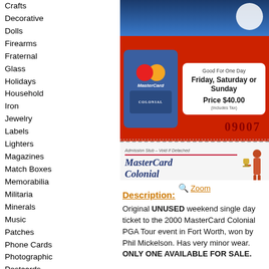Crafts
Decorative
Dolls
Firearms
Fraternal
Glass
Holidays
Household
Iron
Jewelry
Labels
Lighters
Magazines
Match Boxes
Memorabilia
Militaria
Minerals
Music
Patches
Phone Cards
Photographic
Postcards
Pottery & Glass
Shells
Space & Fantasy
Sports
Stamps
Stones
Tea bags
Toys
[Figure (photo): MasterCard Colonial PGA Tour ticket for May 15-21, 2000. Red background ticket showing MasterCard Colonial logo, 'Good For One Day Friday, Saturday or Sunday Price $40.00 (Includes Tax)' with number 09007. Bottom stub reads 'MasterCard Colonial May 15-21, 2000' with admission stub disclaimer.]
Zoom
Description:
Original UNUSED weekend single day ticket to the 2000 MasterCard Colonial PGA Tour event in Fort Worth, won by Phil Mickelson. Has very minor wear. ONLY ONE AVAILABLE FOR SALE.